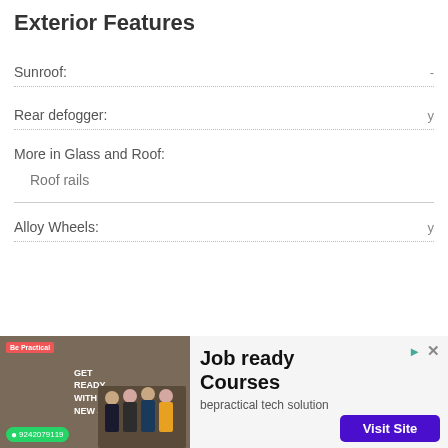Exterior Features
Sunroof: -
Rear defogger: y
More in Glass and Roof:
Roof rails
Alloy Wheels: y
ize:
[Figure (other): Advertisement banner for 'Job ready Courses' by bepractical tech solution with a Visit Site button]